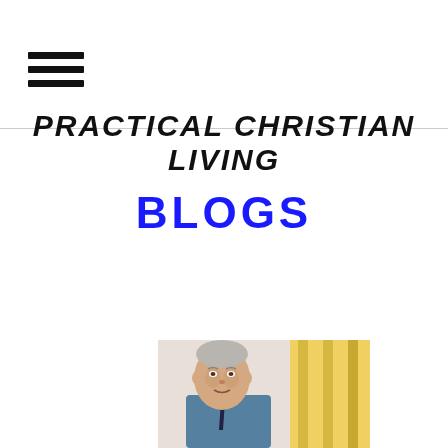[Figure (other): Hamburger menu icon with three horizontal black bars]
PRACTICAL CHRISTIAN LIVING
BLOGS
[Figure (photo): Photograph of an elderly man in a blue shirt and dark tie, standing in front of yellow curtains]